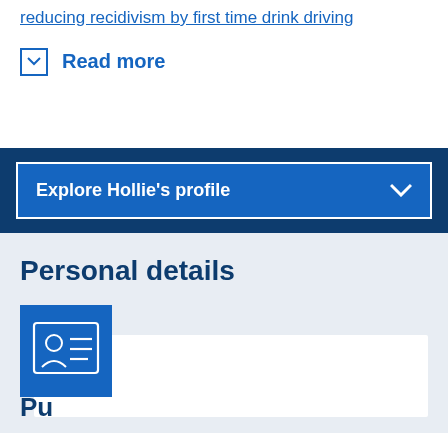reducing recidivism by first time drink driving
Read more
Explore Hollie's profile
Personal details
[Figure (illustration): Blue ID card icon with a person silhouette and horizontal lines representing text fields]
Pu...